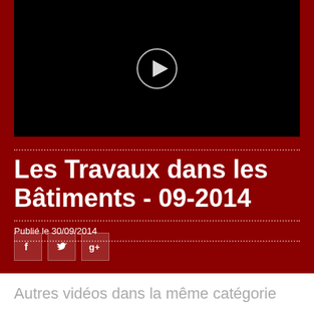[Figure (screenshot): Black video thumbnail with a white play button icon partially visible at top]
Les Travaux dans les Bâtiments - 09-2014
Publié le 30/09/2014
[Figure (other): Social media icons: Facebook, Twitter, Google+]
Autres vidéos dans la même catégorie